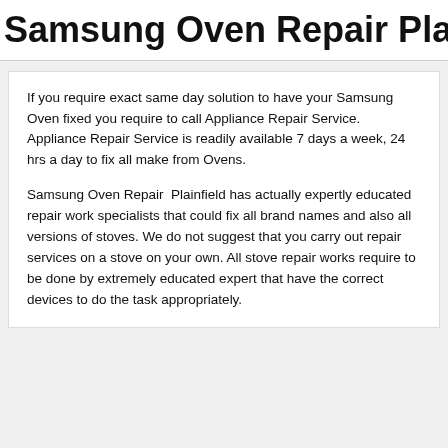Samsung Oven Repair Plainfield
If you require exact same day solution to have your Samsung Oven fixed you require to call Appliance Repair Service. Appliance Repair Service is readily available 7 days a week, 24 hrs a day to fix all make from Ovens.
Samsung Oven Repair  Plainfield has actually expertly educated repair work specialists that could fix all brand names and also all versions of stoves. We do not suggest that you carry out repair services on a stove on your own. All stove repair works require to be done by extremely educated expert that have the correct devices to do the task appropriately.